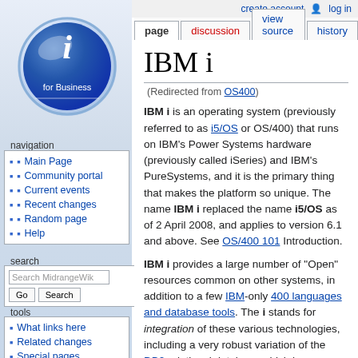create account  log in
page | discussion | view source | history
[Figure (logo): IBM i for Business circular blue logo with lowercase i]
navigation
Main Page
Community portal
Current events
Recent changes
Random page
Help
search
tools
What links here
Related changes
Special pages
IBM i
(Redirected from OS400)
IBM i is an operating system (previously referred to as i5/OS or OS/400) that runs on IBM's Power Systems hardware (previously called iSeries) and IBM's PureSystems, and it is the primary thing that makes the platform so unique. The name IBM i replaced the name i5/OS as of 2 April 2008, and applies to version 6.1 and above. See OS/400 101 Introduction.
IBM i provides a large number of "Open" resources common on other systems, in addition to a few IBM-only 400 languages and database tools. The i stands for integration of these various technologies, including a very robust variation of the DB2 relational database which is woven into the OS. Another such technology is a Posix compatible environment and shell, the "Q-shell", qsh.